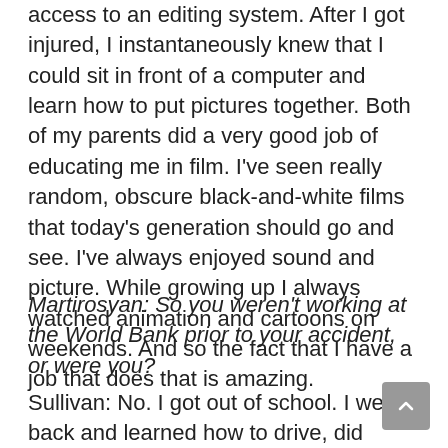access to an editing system. After I got injured, I instantaneously knew that I could sit in front of a computer and learn how to put pictures together. Both of my parents did a very good job of educating me in film. I've seen really random, obscure black-and-white films that today's generation should go and see. I've always enjoyed sound and picture. While growing up I always watched animation and cartoons on weekends. And so the fact that I have a job that does that is amazing.
Martirosyan: So you weren't working at the World Bank prior to your accident, or were you?
Sullivan: No. I got out of school. I went back and learned how to drive, did some extra therapy,